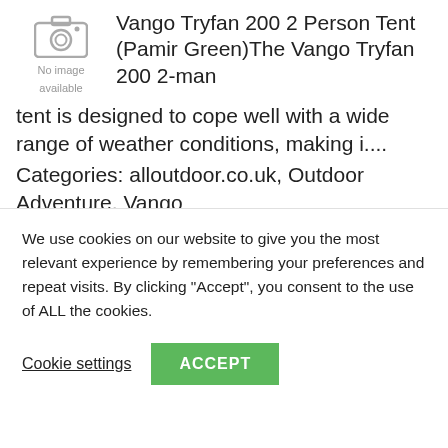[Figure (photo): No image available placeholder with camera icon]
Vango Tryfan 200 2 Person Tent (Pamir Green)The Vango Tryfan 200 2-man tent is designed to cope well with a wide range of weather conditions, making i.... Categories: alloutdoor.co.uk, Outdoor Adventure, Vango
[Figure (illustration): Green to blue gradient rectangle, followed by white strip and a green Buy at button]
We use cookies on our website to give you the most relevant experience by remembering your preferences and repeat visits. By clicking “Accept”, you consent to the use of ALL the cookies.
Cookie settings
ACCEPT